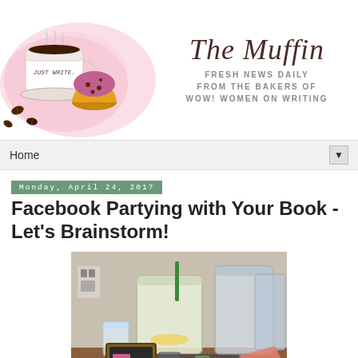[Figure (illustration): The Muffin blog header with illustrated coffee cup labeled 'JUST WRITE' and a muffin on a pink watercolor splash background. Right side shows 'The Muffin' in cursive with tagline 'FRESH NEWS DAILY FROM THE BAKERS OF WOW! WOMEN ON WRITING']
Home ▼
Monday, April 24, 2017
Facebook Partying with Your Book - Let's Brainstorm!
[Figure (photo): Photo of a lemonade beverage dispenser on a table with a chalkboard sign reading 'Free Sparkling Lemonade' and other beverage dispensers in the background]